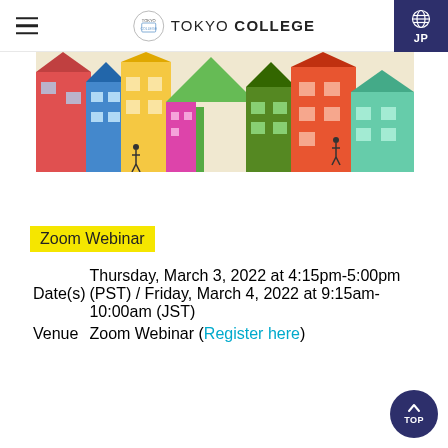TOKYO COLLEGE
[Figure (illustration): Colorful illustrated banner showing abstract buildings and people in a vibrant urban scene]
Zoom Webinar
|  |  |
| --- | --- |
| Date(s) | Thursday, March 3, 2022 at 4:15pm-5:00pm (PST) / Friday, March 4, 2022 at 9:15am-10:00am (JST) |
| Venue | Zoom Webinar (Register here) |